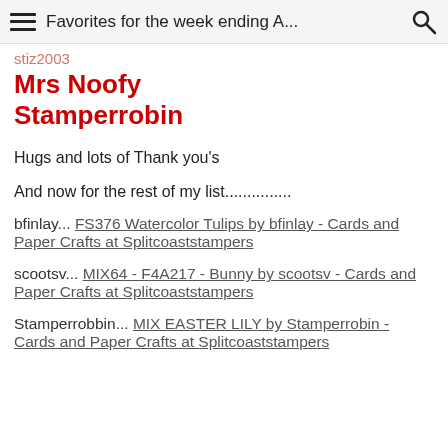Favorites for the week ending A...
stiz2003
Mrs Noofy
Stamperrobin
Hugs and lots of Thank you's
And now for the rest of my list...............
bfinlay... FS376 Watercolor Tulips by bfinlay - Cards and Paper Crafts at Splitcoaststampers
scootsv... MIX64 - F4A217 - Bunny by scootsv - Cards and Paper Crafts at Splitcoaststampers
Stamperrobbin... MIX EASTER LILY by Stamperrobin - Cards and Paper Crafts at Splitcoaststampers